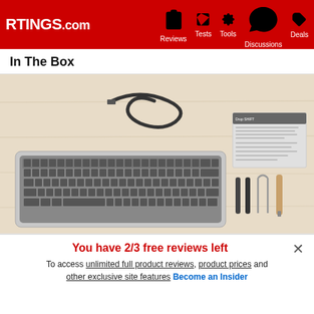RTINGS.com | Reviews | Tests | Tools | Discussions | Deals
In The Box
[Figure (photo): Drop SHIFT keyboard unboxing photo: mechanical keyboard with gray keycaps, USB cable, instruction booklet, screwdriver and small tools, all laid out on a light wood surface.]
Drop SHIFT keyboard
USB-C cable
You have 2/3 free reviews left
To access unlimited full product reviews, product prices and other exclusive site features Become an Insider